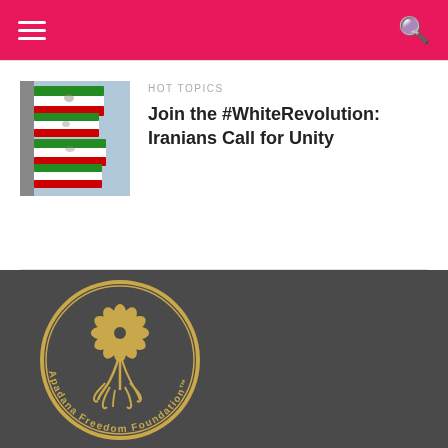Navigation menu and search
HOT TOPICS
Join the #WhiteRevolution: Iranians Call for Unity
[Figure (photo): Iranian flags waving, green white red with lion emblem]
[Figure (logo): Apadana Freedom Foundation logo — gold circular seal with flower and phoenix, text around border reading Apadana Freedom Foundation TM]